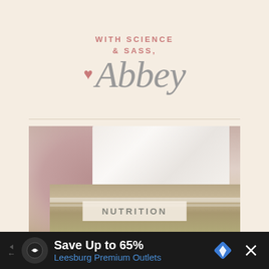WITH SCIENCE & SASS, Abbey
[Figure (photo): Person wearing a white blouse and linen apron, torso/midsection view, with a 'NUTRITION' label overlay at bottom]
NUTRITION
Save Up to 65% Leesburg Premium Outlets